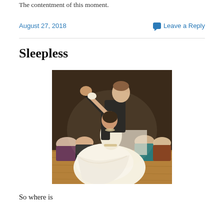The contentment of this moment.
August 27, 2018
Leave a Reply
Sleepless
[Figure (photo): A ballroom dance couple performing. The man in a black suit dips the woman in a flowing white/cream gown on a wooden dance floor. Audience seated in background.]
So where is